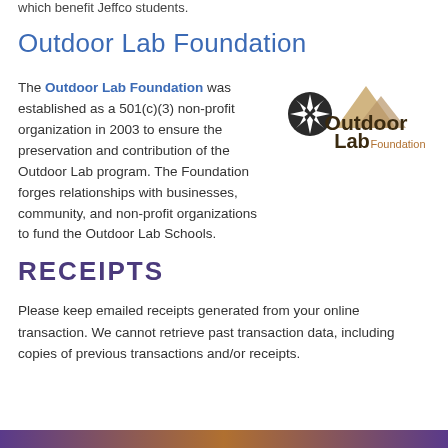which benefit Jeffco students.
Outdoor Lab Foundation
The Outdoor Lab Foundation was established as a 501(c)(3) non-profit organization in 2003 to ensure the preservation and contribution of the Outdoor Lab program. The Foundation forges relationships with businesses, community, and non-profit organizations to fund the Outdoor Lab Schools.
[Figure (logo): Outdoor Lab Foundation logo with compass star and mountain graphic]
RECEIPTS
Please keep emailed receipts generated from your online transaction. We cannot retrieve past transaction data, including copies of previous transactions and/or receipts.